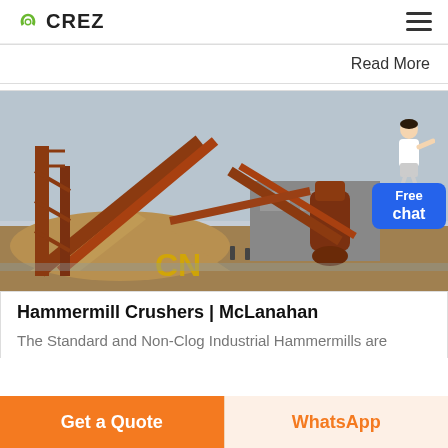CREZ
Read More
[Figure (photo): Industrial hammermill crusher facility with large conveyor belts, orange metal structures, piles of aggregate/sand on the ground, and heavy machinery against a grey sky. Yellow 'CN' watermark text visible on lower portion of photo.]
Hammermill Crushers | McLanahan
The Standard and Non-Clog Industrial Hammermills are
Get a Quote
WhatsApp